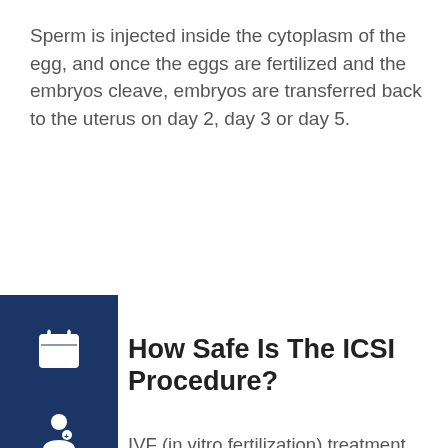Sperm is injected inside the cytoplasm of the egg, and once the eggs are fertilized and the embryos cleave, embryos are transferred back to the uterus on day 2, day 3 or day 5.
How Safe Is The ICSI Procedure?
IVF (in vitro fertilization) treatment procedure carries risks. ICSI being a very delicate and difficult IVF procedure, does carry an even higher risk of failure. Normally during IVF the males sperm are subjected to rigorous procedures to establish their maturity and suitability for the procedure.
ICSI procedure because the number of viable sperm available can be so low they are not subjected to a rigorous programme of testing. The risk of an